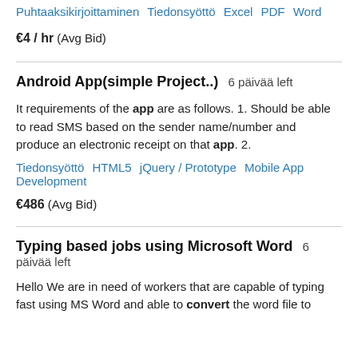Puhtaaksikirjoittaminen  Tiedonsyöttö  Excel  PDF  Word
€4 / hr  (Avg Bid)
Android App(simple Project..)  6 päivää left
It requirements of the app are as follows. 1. Should be able to read SMS based on the sender name/number and produce an electronic receipt on that app. 2.
Tiedonsyöttö  HTML5  jQuery / Prototype  Mobile App Development
€486  (Avg Bid)
Typing based jobs using Microsoft Word  6 päivää left
Hello We are in need of workers that are capable of typing fast using MS Word and able to convert the word file to